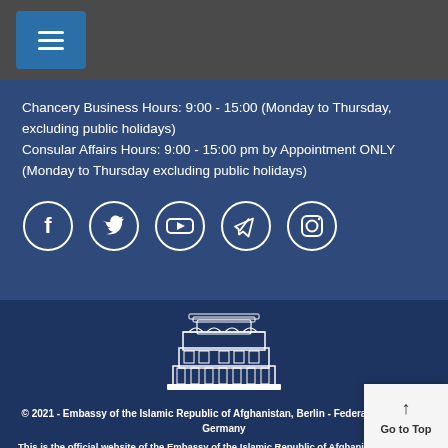[Figure (other): Hamburger menu button icon in blue square on dark grey top bar]
Chancery Business Hours: 9:00 - 15:00 (Monday to Thursday, excluding public holidays)
Consular Affairs Hours: 9:00 - 15:00 pm by Appointment ONLY (Monday to Thursday excluding public holidays)
[Figure (other): Row of five social media icons in white circle outlines: Facebook, Twitter, YouTube, Telegram, Instagram]
[Figure (illustration): White line-art illustration of an ornate government/embassy building]
© 2021 - Embassy of the Islamic Republic of Afghanistan, Berlin - Federal Republic of Germany
This is the official website of the Embassy of the Islamic Republic of Afghanistan in Berlin - Federal Republic of Germany. External links to other Internet sites should not be construed as an endorsement of the views or privacy policies contained therein.
Website Developed by: Office of Spokesperson & Directorate of Communications, Ministry of Foreign Affairs of Afghanistan
Go to Top